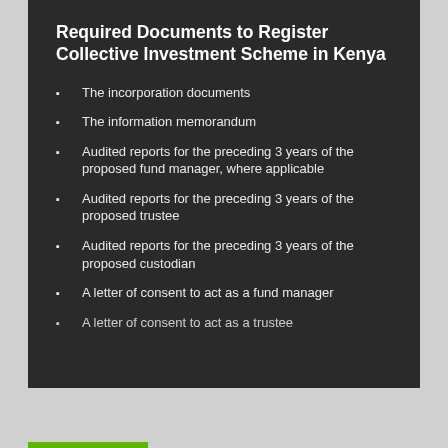Required Documents to Register Collective Investment Scheme in Kenya
The incorporation documents
The information memorandum
Audited reports for the preceding 3 years of the proposed fund manager, where applicable
Audited reports for the preceding 3 years of the proposed trustee
Audited reports for the preceding 3 years of the proposed custodian
A letter of consent to act as a fund manager
A letter of consent to act as a trustee